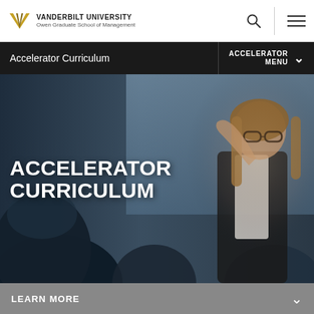VANDERBILT UNIVERSITY Owen Graduate School of Management
Accelerator Curriculum | ACCELERATOR MENU
[Figure (photo): A woman with long blonde hair and glasses, wearing a black blazer over a white blouse, presenting or speaking at an event with audience members visible in the foreground. Bold white text overlay reads 'ACCELERATOR CURRICULUM'.]
LEARN MORE